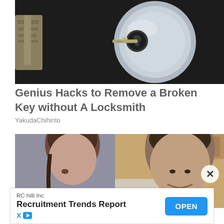[Figure (photo): Close-up photo of a silver door lock cylinder with a broken key inserted, and additional keys visible on the left side against a dark background.]
Genius Hacks to Remove a Broken Key without A Locksmith
YakudaChihinto
[Figure (photo): Photo of a young woman and a young man smiling, appearing to be in a kitchen or casual indoor setting.]
RC hilli Inc
Recruitment Trends Report
OPEN